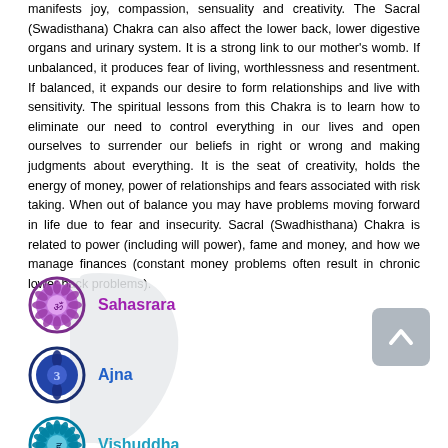manifests joy, compassion, sensuality and creativity. The Sacral (Swadisthana) Chakra can also affect the lower back, lower digestive organs and urinary system. It is a strong link to our mother's womb. If unbalanced, it produces fear of living, worthlessness and resentment. If balanced, it expands our desire to form relationships and live with sensitivity. The spiritual lessons from this Chakra is to learn how to eliminate our need to control everything in our lives and open ourselves to surrender our beliefs in right or wrong and making judgments about everything. It is the seat of creativity, holds the energy of money, power of relationships and fears associated with risk taking. When out of balance you may have problems moving forward in life due to fear and insecurity. Sacral (Swadhisthana) Chakra is related to power (including will power), fame and money, and how we manage finances (constant money problems often result in chronic lower back problems).
[Figure (illustration): Chakra diagram showing icons and names: Sahasrara (purple), Ajna (dark blue), Vishuddha (teal/blue), with a white blob/body silhouette behind them, and a scroll-to-top button in the lower right.]